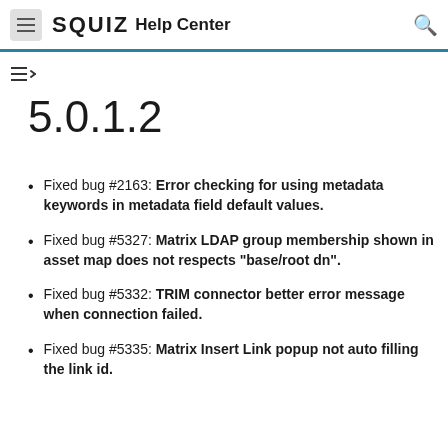SQUIZ Help Center
5.0.1.2
Fixed bug #2163: Error checking for using metadata keywords in metadata field default values.
Fixed bug #5327: Matrix LDAP group membership shown in asset map does not respects "base/root dn".
Fixed bug #5332: TRIM connector better error message when connection failed.
Fixed bug #5335: Matrix Insert Link popup not auto filling the link id.